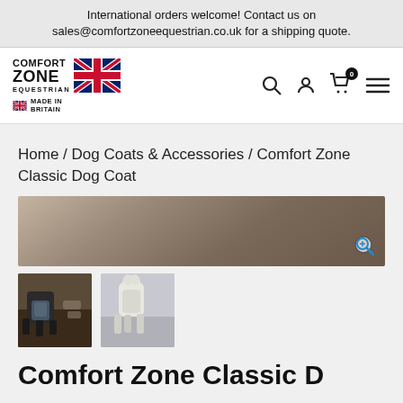International orders welcome! Contact us on sales@comfortzoneequestrian.co.uk for a shipping quote.
[Figure (logo): Comfort Zone Equestrian logo with UK flag and Made in Britain badge]
Home / Dog Coats & Accessories / Comfort Zone Classic Dog Coat
[Figure (photo): Main product image of dog coat - rocky outdoor background]
[Figure (photo): Thumbnail 1: black dog wearing a grey/blue dog coat outdoors on rocks]
[Figure (photo): Thumbnail 2: white dog wearing a light coloured dog coat]
Comfort Zone Classic D...